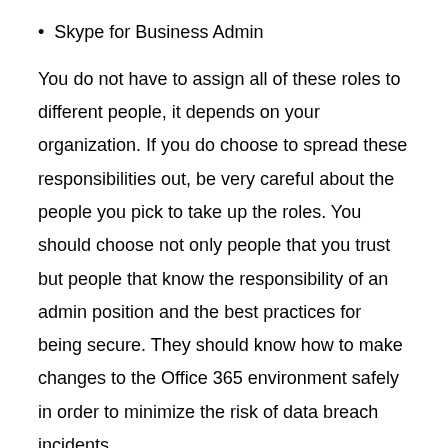Skype for Business Admin
You do not have to assign all of these roles to different people, it depends on your organization. If you do choose to spread these responsibilities out, be very careful about the people you pick to take up the roles. You should choose not only people that you trust but people that know the responsibility of an admin position and the best practices for being secure. They should know how to make changes to the Office 365 environment safely in order to minimize the risk of data breach incidents.
A Use Case
Imagine the following scenario